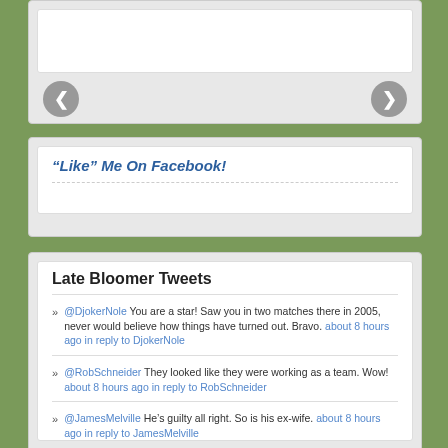[Figure (screenshot): Image slider widget with left and right navigation arrows on a light gray background]
“Like” Me On Facebook!
Late Bloomer Tweets
@DjokerNole You are a star! Saw you in two matches there in 2005, never would believe how things have turned out. Bravo. about 8 hours ago in reply to DjokerNole
@RobSchneider They looked like they were working as a team. Wow! about 8 hours ago in reply to RobSchneider
@JamesMelville He’s guilty all right. So is his ex-wife. about 8 hours ago in reply to JamesMelville
@SammieJack3 Can’t they find a way to grow hair? about 8